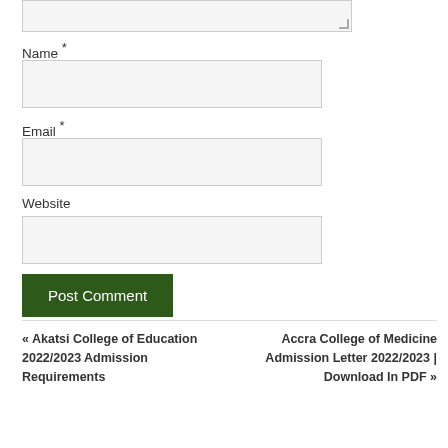Name *
Email *
Website
Post Comment
« Akatsi College of Education 2022/2023 Admission Requirements
Accra College of Medicine Admission Letter 2022/2023 | Download In PDF »